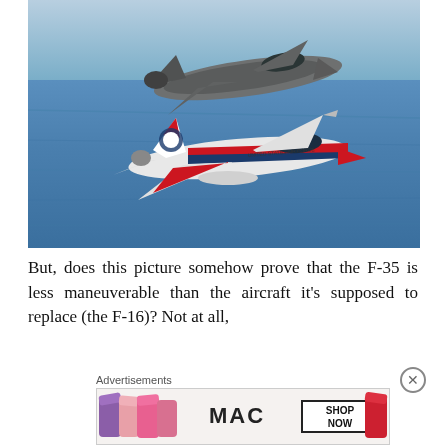[Figure (photo): Two military fighter jets flying over ocean. The upper jet is an F-35 in grey/dark color. The lower jet is an F-16 in the US Air Force Thunderbirds livery (white, red, and blue). The background shows blue ocean water.]
But, does this picture somehow prove that the F-35 is less maneuverable than the aircraft it's supposed to replace (the F-16)? Not at all,
Advertisements
[Figure (photo): MAC cosmetics advertisement banner showing lipsticks in purple, pink, and red shades with MAC logo and 'SHOP NOW' button.]